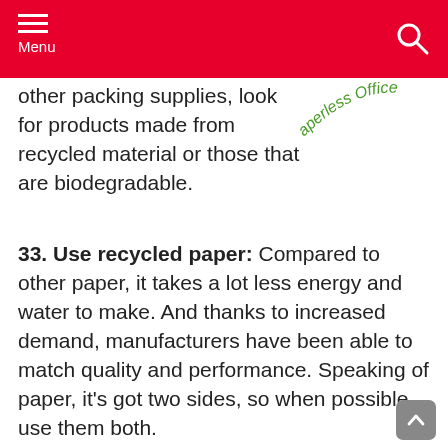Menu
[Figure (logo): Paperless Office watermark logo in green curved text]
other packing supplies, look for products made from recycled material or those that are biodegradable.
33. Use recycled paper: Compared to other paper, it takes a lot less energy and water to make. And thanks to increased demand, manufacturers have been able to match quality and performance. Speaking of paper, it's got two sides, so when possible, use them both.
34. Use recycled paper: Pens are often tossed into the garbage and not recycled or reused. Their components and packaging are made from